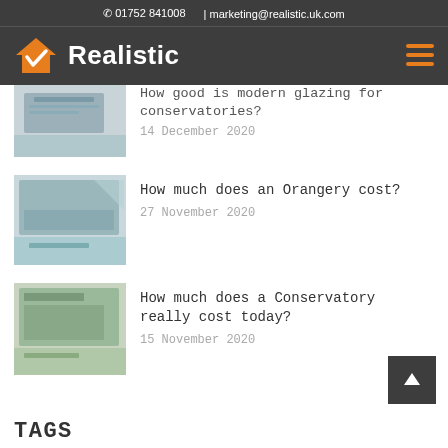01752 841008  |  marketing@realistic.uk.com
[Figure (logo): Realistic company logo with orange house/checkmark icon and white bold text 'Realistic' on dark background, with orange hamburger menu icon on right]
How good is modern glazing for conservatories?
14 December 2020
How much does an Orangery cost?
27 November 2020
How much does a Conservatory really cost today?
15 November 2020
TAGS